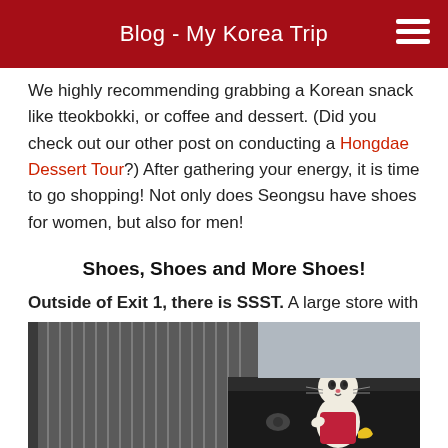Blog - My Korea Trip
We highly recommending grabbing a Korean snack like tteokbokki, or coffee and dessert. (Did you check out our other post on conducting a Hongdae Dessert Tour?) After gathering your energy, it is time to go shopping! Not only does Seongsu have shoes for women, but also for men!
Shoes, Shoes and More Shoes!
Outside of Exit 1, there is SSST. A large store with a very diverse collection of high quality shoes. You can't miss it, not with the statue outside the shoe store!
[Figure (photo): Photo of a building exterior with a cat statue/figurine wearing a red outfit, mounted on a dark architectural overhang. Building has vertical metal louvers visible in the background.]